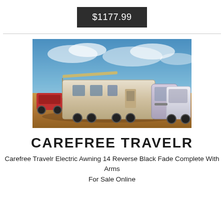$1177.99
[Figure (photo): A fifth-wheel RV trailer being towed by a large white truck across a desert landscape, with a red ATV alongside, blue cloudy sky in background.]
CAREFREE TRAVELR
Carefree Travelr Electric Awning 14 Reverse Black Fade Complete With Arms For Sale Online